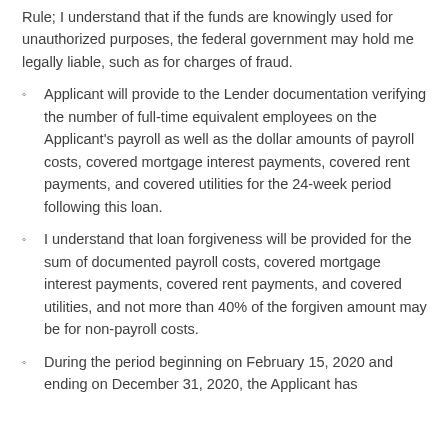Rule; I understand that if the funds are knowingly used for unauthorized purposes, the federal government may hold me legally liable, such as for charges of fraud.
Applicant will provide to the Lender documentation verifying the number of full-time equivalent employees on the Applicant's payroll as well as the dollar amounts of payroll costs, covered mortgage interest payments, covered rent payments, and covered utilities for the 24-week period following this loan.
I understand that loan forgiveness will be provided for the sum of documented payroll costs, covered mortgage interest payments, covered rent payments, and covered utilities, and not more than 40% of the forgiven amount may be for non-payroll costs.
During the period beginning on February 15, 2020 and ending on December 31, 2020, the Applicant has